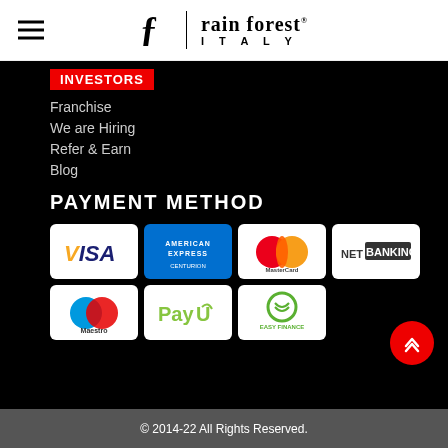rain forest® ITALY
INVESTORS
Franchise
We are Hiring
Refer & Earn
Blog
PAYMENT METHOD
[Figure (logo): Payment method logos: VISA, American Express, MasterCard, NET BANKING, Maestro, PayU, Easy Finance]
© 2014-22 All Rights Reserved.